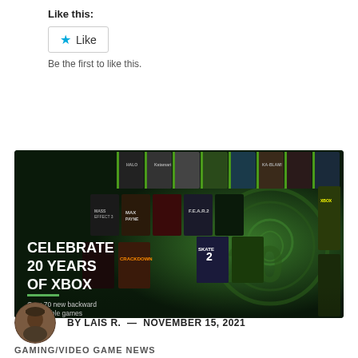Like this:
Like
Be the first to like this.
[Figure (photo): Xbox 20th anniversary promotional banner showing multiple Xbox game covers arranged on a dark green Xbox-branded background with text 'CELEBRATE 20 YEARS OF XBOX' and 'Over 70 new backward compatible games'. The Xbox 20 years logo is visible on the right side.]
BY LAIS R.  —  NOVEMBER 15, 2021
GAMING/VIDEO GAME NEWS